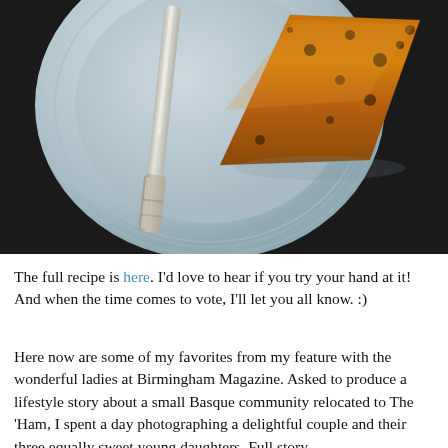[Figure (photo): Overhead photo of a blue-gray ceramic plate on a dark textured surface, with a silver knife and a triangular slice of baked savory food (appears to be a quiche or tart with golden-brown top and dark filling)]
The full recipe is here. I'd love to hear if you try your hand at it! And when the time comes to vote, I'll let you all know. :)
Here now are some of my favorites from my feature with the wonderful ladies at Birmingham Magazine. Asked to produce a lifestyle story about a small Basque community relocated to The 'Ham, I spent a day photographing a delightful couple and their three equally sweet young daughters. Full story -